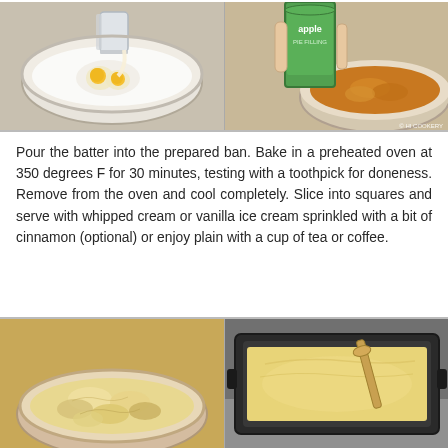[Figure (photo): Two-panel photo: left panel shows a bowl with flour and eggs being added from a measuring cup; right panel shows a hand holding a can of apple pie filling over a mixing bowl with batter, watermark 'HI COOKERY' in bottom right]
Pour the batter into the prepared ban. Bake in a preheated oven at 350 degrees F for 30 minutes, testing with a toothpick for doneness. Remove from the oven and cool completely. Slice into squares and serve with whipped cream or vanilla ice cream sprinkled with a bit of cinnamon (optional) or enjoy plain with a cup of tea or coffee.
[Figure (photo): Two-panel photo: left panel shows a mixing bowl with chunky apple batter mixture; right panel shows the batter poured and spread in a dark rectangular baking pan with a wooden spoon]